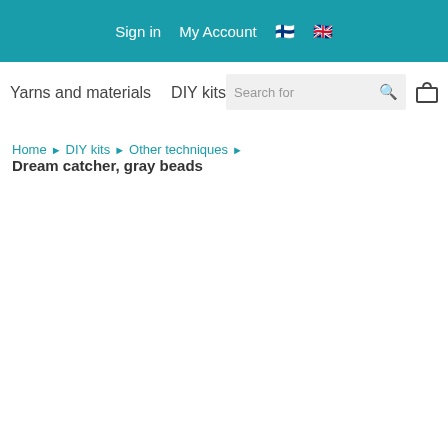Sign in  My Account  [FI flag] [UK flag]
Yarns and materials  DIY kits  R…  Search for  [cart]
Home > DIY kits > Other techniques > Dream catcher, gray beads